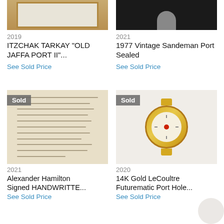[Figure (photo): Framed art print - top portion of Itzchak Tarkay Old Jaffa Port II painting in gold frame]
[Figure (photo): Top portion of 1977 Vintage Sandeman Port bottle, dark background]
2019
2021
ITZCHAK TARKAY "OLD JAFFA PORT II"...
1977 Vintage Sandeman Port Sealed
See Sold Price
See Sold Price
[Figure (photo): Alexander Hamilton handwritten signed letter document, aged parchment, 'Sold' badge overlay]
[Figure (photo): 14K Gold LeCoultre Futurematic Port Hole watch with gold bracelet and red jewel, 'Sold' badge overlay]
2021
2020
Alexander Hamilton Signed HANDWRITTE...
14K Gold LeCoultre Futurematic Port Hole...
See Sold Price
See Sold Price